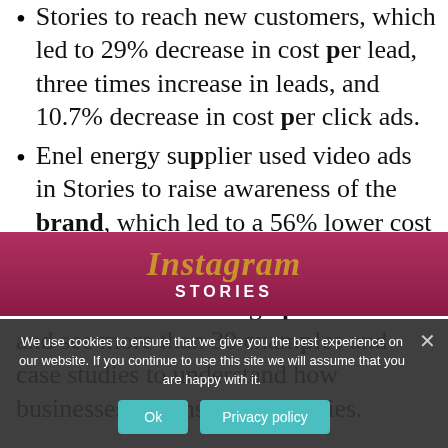...Stories to reach new customers, which led to 29% decrease in cost per lead, three times increase in leads, and 10.7% decrease in cost per click ads.
Enel energy supplier used video ads in Stories to raise awareness of the brand, which led to a 56% lower cost per click.
Take a look at the infographic below and see more than 30 examples and case studies to understand how businesses use Instagram Stories.
[Figure (infographic): Partial view of an Instagram Stories infographic with a dark red/pink background showing the Instagram Stories logo in gold italic script with 'STORIES' in white uppercase letters]
We use cookies to ensure that we give you the best experience on our website. If you continue to use this site we will assume that you are happy with it.